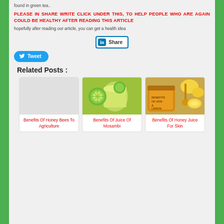found in green tea..
PLEASE IN SHARE WRITE CLICK UNDER THIS, TO HELP PEOPLE WHO ARE AGAIN COULD BE HEALTHY AFTER READING THIS ARTICLE
hopefully after reading our article, you can get a health idea
[Figure (other): LinkedIn Share button]
[Figure (other): Twitter Tweet button]
Related Posts :
[Figure (other): Related post card: Benefits Of Honey Bees To Agriculture (no image)]
[Figure (photo): Related post card: Benefits Of Juice Of Mosambi - photo of lime juice drink]
[Figure (photo): Related post card: Benefits Of Honey Juice For Skin - photo of honey and lemons]